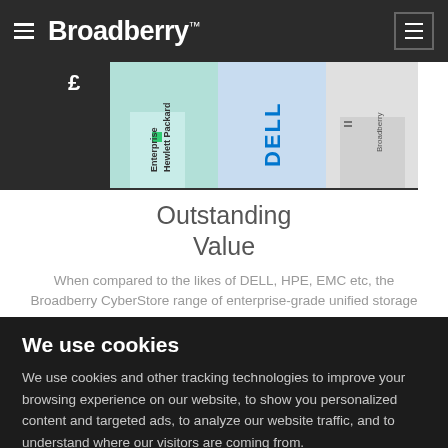Broadberry™
[Figure (bar-chart): Partial bar chart comparing prices of Hewlett Packard Enterprise, DELL, and Broadberry products, shown with £ symbol on y-axis]
Outstanding Value
When compared to the likes of DELL, HPE, EMC etc, the Broadberry CyberStore range of enterprise-grade unified storage
We use cookies
We use cookies and other tracking technologies to improve your browsing experience on our website, to show you personalized content and targeted ads, to analyze our website traffic, and to understand where our visitors are coming from.